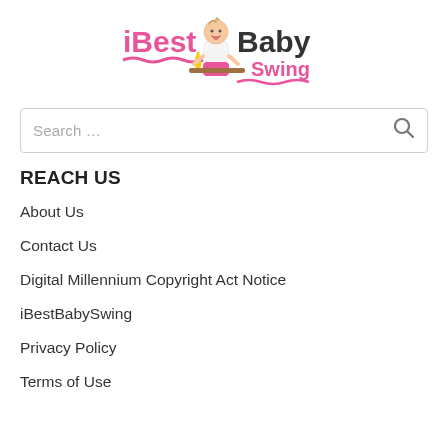[Figure (logo): iBest Baby Swing logo with cartoon baby sitting at a table, pink and brown text]
Search …
REACH US
About Us
Contact Us
Digital Millennium Copyright Act Notice
iBestBabySwing
Privacy Policy
Terms of Use